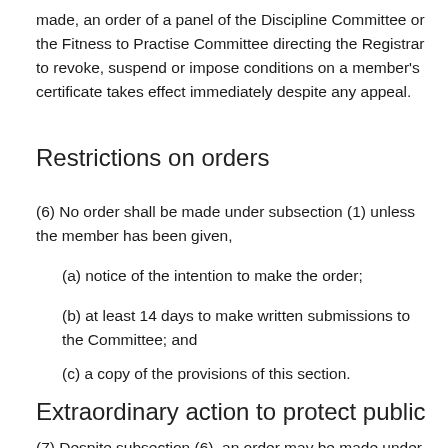made, an order of a panel of the Discipline Committee or the Fitness to Practise Committee directing the Registrar to revoke, suspend or impose conditions on a member's certificate takes effect immediately despite any appeal.
Restrictions on orders
(6)  No order shall be made under subsection (1) unless the member has been given,
(a)  notice of the intention to make the order;
(b)  at least 14 days to make written submissions to the Committee; and
(c)  a copy of the provisions of this section.
Extraordinary action to protect public
(7)  Despite subsection (6), an order may be made under